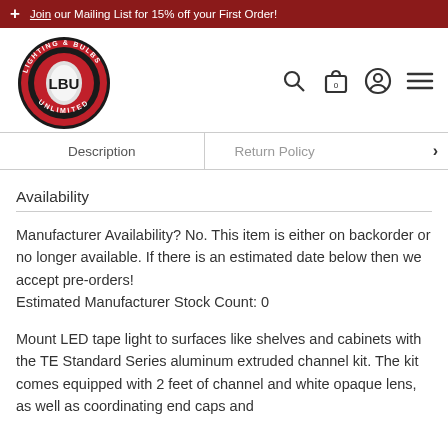Join our Mailing List for 15% off your First Order!
[Figure (logo): Lighting & Bulbs Unlimited (LBU) circular logo in red and black]
Description | Return Policy
Availability
Manufacturer Availability? No. This item is either on backorder or no longer available. If there is an estimated date below then we accept pre-orders!
Estimated Manufacturer Stock Count: 0
Mount LED tape light to surfaces like shelves and cabinets with the TE Standard Series aluminum extruded channel kit. The kit comes equipped with 2 feet of channel and white opaque lens, as well as coordinating end caps and